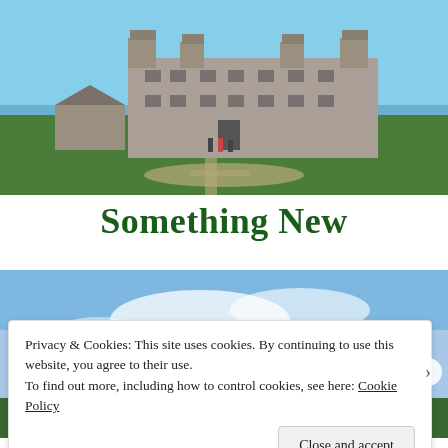[Figure (photo): Historic stone castle/fort building with green lawn and people in foreground, blue sky background]
Something New
[Figure (photo): Outdoor scene with blue sky and clouds, some structures visible at bottom]
Privacy & Cookies: This site uses cookies. By continuing to use this website, you agree to their use.
To find out more, including how to control cookies, see here: Cookie Policy
Close and accept